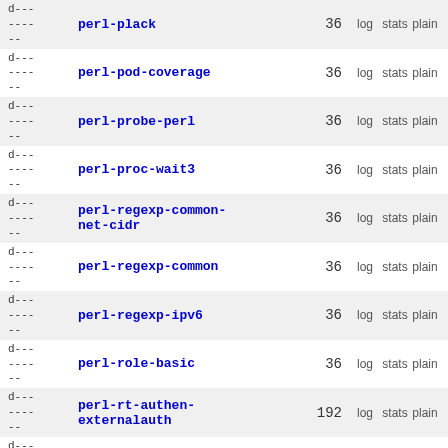| permissions | name | count | log | stats | plain |
| --- | --- | --- | --- | --- | --- |
| d---
----
-- | perl-plack | 36 | log | stats | plain |
| d---
----
-- | perl-pod-coverage | 36 | log | stats | plain |
| d---
----
-- | perl-probe-perl | 36 | log | stats | plain |
| d---
----
-- | perl-proc-wait3 | 36 | log | stats | plain |
| d---
----
-- | perl-regexp-common-net-cidr | 36 | log | stats | plain |
| d---
----
-- | perl-regexp-common | 36 | log | stats | plain |
| d---
----
-- | perl-regexp-ipv6 | 36 | log | stats | plain |
| d---
----
-- | perl-role-basic | 36 | log | stats | plain |
| d---
----
-- | perl-rt-authen-externalauth | 192 | log | stats | plain |
| d--- |  |  |  |  |  |